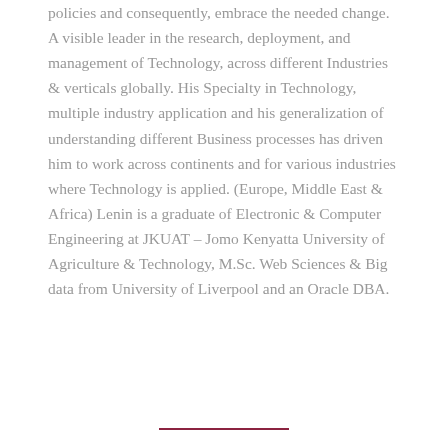policies and consequently, embrace the needed change. A visible leader in the research, deployment, and management of Technology, across different Industries & verticals globally. His Specialty in Technology, multiple industry application and his generalization of understanding different Business processes has driven him to work across continents and for various industries where Technology is applied. (Europe, Middle East & Africa) Lenin is a graduate of Electronic & Computer Engineering at JKUAT – Jomo Kenyatta University of Agriculture & Technology, M.Sc. Web Sciences & Big data from University of Liverpool and an Oracle DBA.